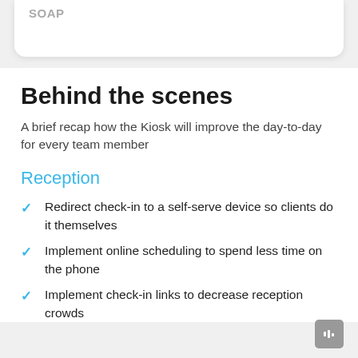SOAP
Behind the scenes
A brief recap how the Kiosk will improve the day-to-day for every team member
Reception
Redirect check-in to a self-serve device so clients do it themselves
Implement online scheduling to spend less time on the phone
Implement check-in links to decrease reception crowds